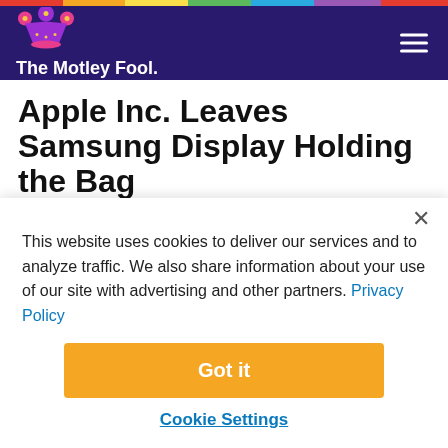The Motley Fool
Apple Inc. Leaves Samsung Display Holding the Bag
By Ashraf Eassa - Feb 21, 2018 at 12:00PM
You're reading a free article with opinions that may differ
This website uses cookies to deliver our services and to analyze traffic. We also share information about your use of our site with advertising and other partners. Privacy Policy
Got it
Cookie Settings